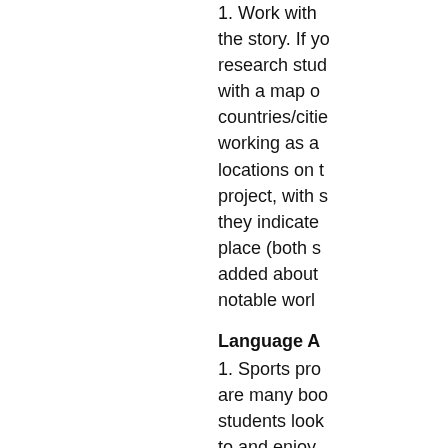1. Work with the story. If you research stu with a map o countries/citie working as a locations on t project, with s they indicate place (both s added about notable worl
Language A
1. Sports pro are many boo students look to and enjoy. poems about the authors u